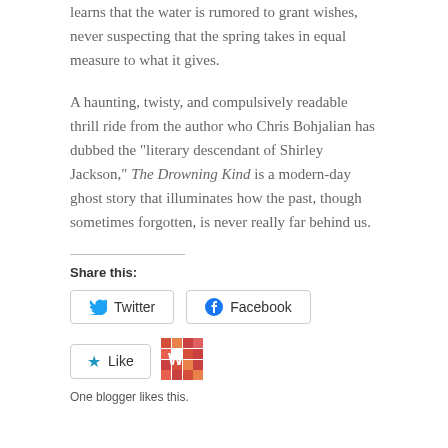learns that the water is rumored to grant wishes, never suspecting that the spring takes in equal measure to what it gives.
A haunting, twisty, and compulsively readable thrill ride from the author who Chris Bohjalian has dubbed the “literary descendant of Shirley Jackson,” The Drowning Kind is a modern-day ghost story that illuminates how the past, though sometimes forgotten, is never really far behind us.
Share this:
Twitter
Facebook
Like
One blogger likes this.